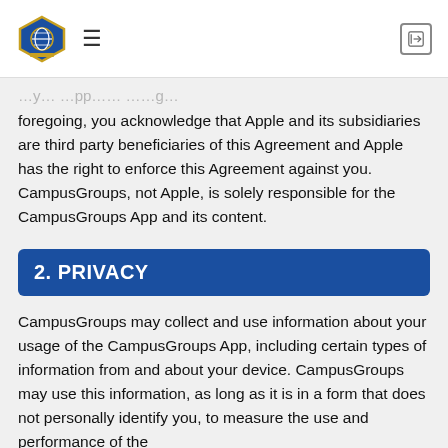CampusGroups navigation header with logo, hamburger menu, and login icon
foregoing, you acknowledge that Apple and its subsidiaries are third party beneficiaries of this Agreement and Apple has the right to enforce this Agreement against you. CampusGroups, not Apple, is solely responsible for the CampusGroups App and its content.
2. PRIVACY
CampusGroups may collect and use information about your usage of the CampusGroups App, including certain types of information from and about your device. CampusGroups may use this information, as long as it is in a form that does not personally identify you, to measure the use and performance of the